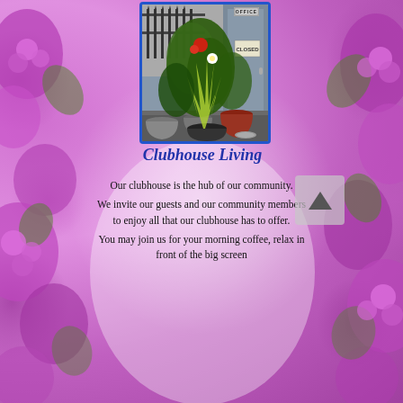[Figure (photo): Photo of a clubhouse entrance/office with potted plants including ferns, palms, and flowering plants in gray, black, and red pots. Iron fence visible in background. 'OFFICE' sign on door, 'CLOSED' sign visible. Photo has blue border.]
Clubhouse Living
Our clubhouse is the hub of our community.
We invite our guests and our community members to enjoy all that our clubhouse has to offer.
You may join us for your morning coffee, relax in front of the big screen